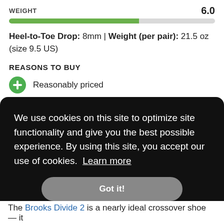[Figure (bar-chart): WEIGHT]
Heel-to-Toe Drop: 8mm | Weight (per pair): 21.5 oz (size 9.5 US)
REASONS TO BUY
Reasonably priced
Comfortable and consistent ride
We use cookies on this site to optimize site functionality and give you the best possible experience. By using this site, you accept our use of cookies. Learn more
Got it!
The Brooks Divide 2 is a nearly ideal crossover shoe — it